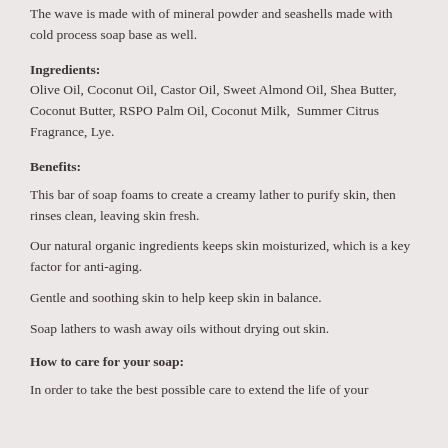The wave is made with of mineral powder and seashells made with cold process soap base as well.
Ingredients:
Olive Oil, Coconut Oil, Castor Oil, Sweet Almond Oil, Shea Butter, Coconut Butter, RSPO Palm Oil, Coconut Milk,  Summer Citrus Fragrance, Lye.
Benefits:
This bar of soap foams to create a creamy lather to purify skin, then rinses clean, leaving skin fresh.
Our natural organic ingredients keeps skin moisturized, which is a key factor for anti-aging.
Gentle and soothing skin to help keep skin in balance.
Soap lathers to wash away oils without drying out skin.
How to care for your soap:
In order to take the best possible care to extend the life of your